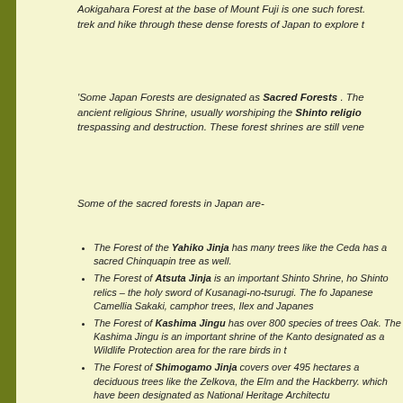Aokigahara Forest at the base of Mount Fuji is one such forest. trek and hike through these dense forests of Japan to explore t
'Some Japan Forests are designated as Sacred Forests . The ancient religious Shrine, usually worshiping the Shinto religio trespassing and destruction. These forest shrines are still vene
Some of the sacred forests in Japan are-
The Forest of the Yahiko Jinja has many trees like the Ceda has a sacred Chinquapin tree as well.
The Forest of Atsuta Jinja is an important Shinto Shrine, ho Shinto relics – the holy sword of Kusanagi-no-tsurugi. The fo Japanese Camellia Sakaki, camphor trees, Ilex and Japanes
The Forest of Kashima Jingu has over 800 species of trees Oak. The Kashima Jingu is an important shrine of the Kanto designated as a Wildlife Protection area for the rare birds in t
The Forest of Shimogamo Jinja covers over 495 hectares a deciduous trees like the Zelkova, the Elm and the Hackberry. which have been designated as National Heritage Architectu
The Forest of the Kirishima Jingu covers and area of 887 h Kirishima Volcano, the forest has been destroyed and then re
The Forest of the Kasuga Taisha is home to the beautiful po contains many species of evergreens and shrubs. Trees like the Ichii also grow there. People from all over Japan visit the pilgrimages.'